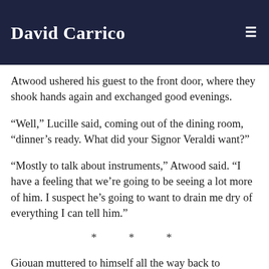David Carrico
Atwood ushered his guest to the front door, where they shook hands again and exchanged good evenings.
“Well,” Lucille said, coming out of the dining room, “dinner’s ready. What did your Signor Veraldi want?”
“Mostly to talk about instruments,” Atwood said. “I have a feeling that we’re going to be seeing a lot more of him. I suspect he’s going to want to drain me dry of everything I can tell him.”
* * *
Giouan muttered to himself all the way back to